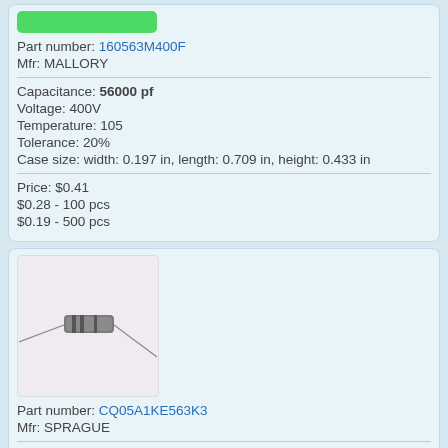Part number: 160563M400F
Mfr: MALLORY
Capacitance: 56000 pf
Voltage: 400V
Temperature: 105
Tolerance: 20%
Case size: width: 0.197 in, length: 0.709 in, height: 0.433 in
Price: $0.41
$0.28 - 100 pcs
$0.19 - 500 pcs
[Figure (photo): Photo of a cylindrical axial capacitor component on a light purple/white background]
Part number: CQ05A1KE563K3
Mfr: SPRAGUE
Capacitance: 56000 pf
Voltage: 400V
Temperature: